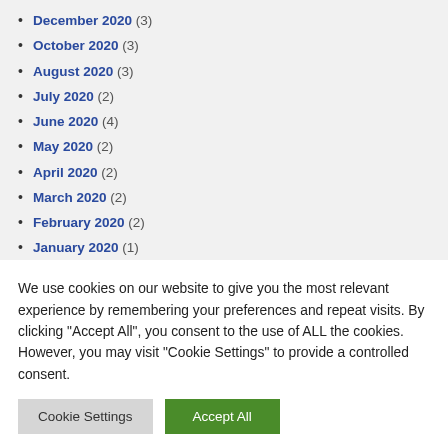December 2020 (3)
October 2020 (3)
August 2020 (3)
July 2020 (2)
June 2020 (4)
May 2020 (2)
April 2020 (2)
March 2020 (2)
February 2020 (2)
January 2020 (1)
October 2019 (4)
We use cookies on our website to give you the most relevant experience by remembering your preferences and repeat visits. By clicking “Accept All”, you consent to the use of ALL the cookies. However, you may visit "Cookie Settings" to provide a controlled consent.